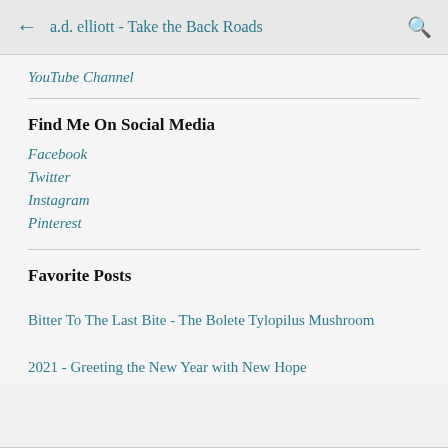← a.d. elliott - Take the Back Roads 🔍
YouTube Channel
Find Me On Social Media
Facebook
Twitter
Instagram
Pinterest
Favorite Posts
Bitter To The Last Bite - The Bolete Tylopilus Mushroom
2021 - Greeting the New Year with New Hope